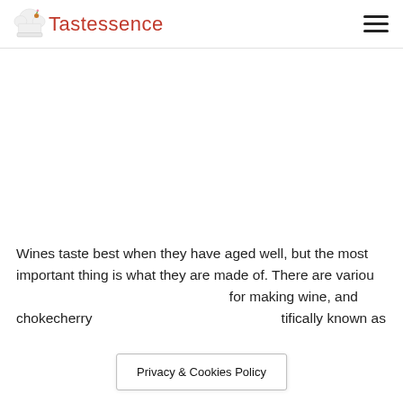Tastessence
[Figure (other): Large blank advertisement/image area below the header]
Wines taste best when they have aged well, but the most important thing is what they are made of. There are various [ingredients] for making wine, and chokecherry [scientifically known as]
Privacy & Cookies Policy